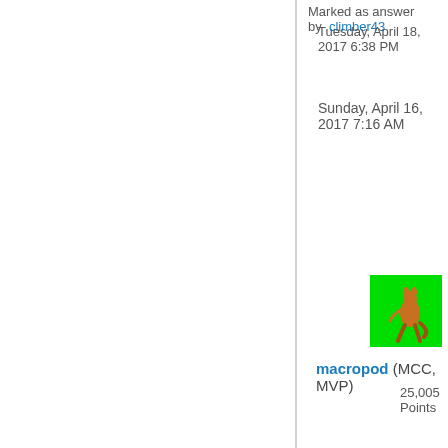Marked as answer by  climber43
Tuesday, April 18, 2017 6:38 PM
Sunday, April 16, 2017 7:16 AM
[Figure (photo): Green background avatar/profile image with a small character graphic]
macropod (MCC, MVP)
25,005 Points
[Figure (screenshot): Grey square icon with a white speech/chat bubble cutout shape]
[Figure (other): Upward pointing triangle/arrow vote button]
0
Sign in to vote
I hear you on the bookmarking, and therein lies my dilemma. I think.
As I mentioned in a previous